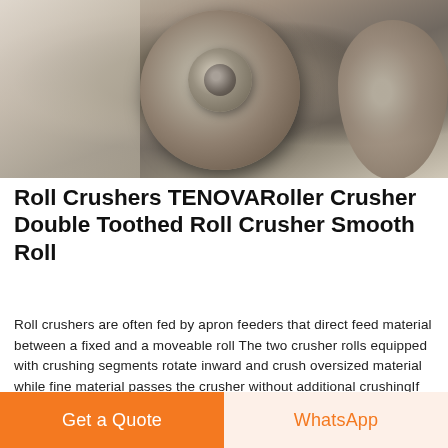[Figure (photo): Close-up photograph of industrial roll crusher machinery showing worn metal rollers with rough surface texture]
Roll Crushers TENOVARoller Crusher Double Toothed Roll Crusher Smooth Roll
Roll crushers are often fed by apron feeders that direct feed material between a fixed and a moveable roll The two crusher rolls equipped with crushing segments rotate inward and crush oversized material while fine material passes the crusher without additional crushingIf the double roll crusher works for a much longer period of time the discharging size of finished products will be overly fine At this time users should adjust the discharging mouth or overhaul the whole machine 3 Users should lubricate the key parts frequently to keep double roller crusher in good working condition
Get a Quote | WhatsApp